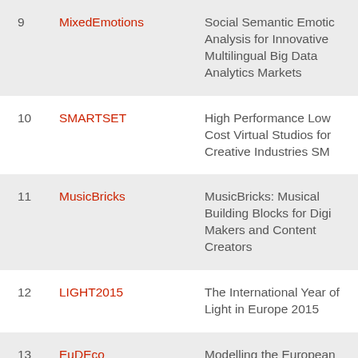| # | Name | Description |
| --- | --- | --- |
| 9 | MixedEmotions | Social Semantic Emotion Analysis for Innovative Multilingual Big Data Analytics Markets |
| 10 | SMARTSET | High Performance Low Cost Virtual Studios for Creative Industries SM… |
| 11 | MusicBricks | MusicBricks: Musical Building Blocks for Digital Makers and Content Creators |
| 12 | LIGHT2015 | The International Year of Light in Europe 2015 |
| 13 | EuDEco | Modelling the European data economy |
| 14 | CASPER | User-centric Middleware Architecture for Advan… |